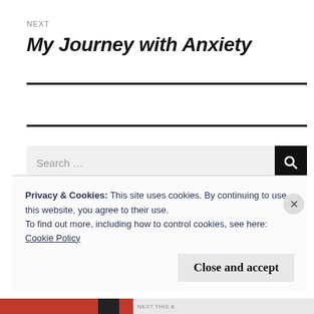NEXT
My Journey with Anxiety
Privacy & Cookies: This site uses cookies. By continuing to use this website, you agree to their use.
To find out more, including how to control cookies, see here:
Cookie Policy
Close and accept